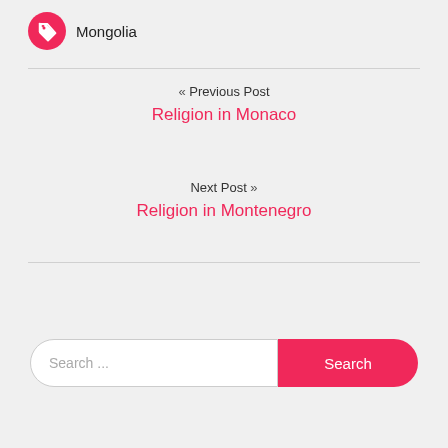Mongolia
« Previous Post
Religion in Monaco
Next Post »
Religion in Montenegro
Search ...